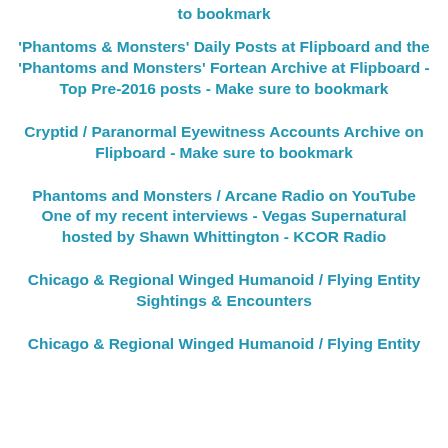to bookmark
'Phantoms & Monsters' Daily Posts at Flipboard and the 'Phantoms and Monsters' Fortean Archive at Flipboard - Top Pre-2016 posts - Make sure to bookmark
Cryptid / Paranormal Eyewitness Accounts Archive on Flipboard - Make sure to bookmark
Phantoms and Monsters / Arcane Radio on YouTube One of my recent interviews - Vegas Supernatural hosted by Shawn Whittington - KCOR Radio
Chicago & Regional Winged Humanoid / Flying Entity Sightings & Encounters
Chicago & Regional Winged Humanoid / Flying Entity